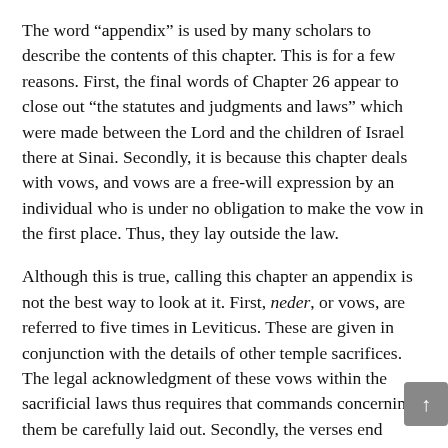The word “appendix” is used by many scholars to describe the contents of this chapter. This is for a few reasons. First, the final words of Chapter 26 appear to close out “the statutes and judgments and laws” which were made between the Lord and the children of Israel there at Sinai. Secondly, it is because this chapter deals with vows, and vows are a free-will expression by an individual who is under no obligation to make the vow in the first place. Thus, they lay outside the law.
Although this is true, calling this chapter an appendix is not the best way to look at it. First, neder, or vows, are referred to five times in Leviticus. These are given in conjunction with the details of other temple sacrifices. The legal acknowledgment of these vows within the sacrificial laws thus requires that commands concerning them be carefully laid out. Secondly, the verses end acknowledging that the chapter details commandments